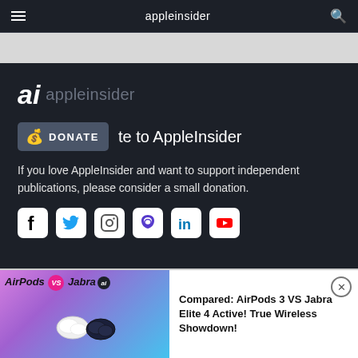appleinsider
[Figure (screenshot): White ad banner area]
[Figure (logo): AppleInsider 'ai' logo with text 'appleinsider']
Donate to AppleInsider
If you love AppleInsider and want to support independent publications, please consider a small donation.
[Figure (infographic): Row of social media icons: Facebook, Twitter, Instagram, Mastodon, LinkedIn, YouTube]
[Figure (screenshot): Bottom ad: AirPods VS Jabra promo image showing white AirPods and dark Jabra earbuds case]
Compared: AirPods 3 VS Jabra Elite 4 Active! True Wireless Showdown!